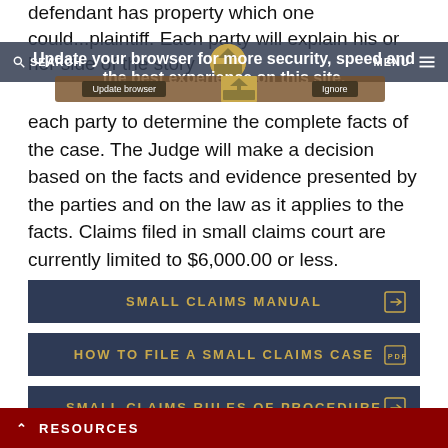Update your browser for more security, speed and the best experience on this site.
each party to determine the complete facts of the case. The Judge will make a decision based on the facts and evidence presented by the parties and on the law as it applies to the facts. Claims filed in small claims court are currently limited to $6,000.00 or less.
SMALL CLAIMS MANUAL
HOW TO FILE A SMALL CLAIMS CASE
SMALL CLAIMS RULES OF PROCEDURE
RESOURCES